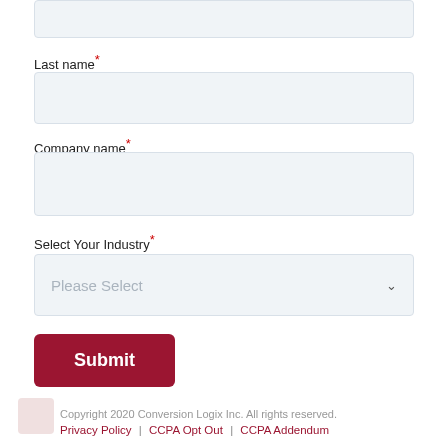Last name*
[Figure (other): Empty text input box for Last name field]
Company name*
[Figure (other): Empty text input box for Company name field]
Select Your Industry*
[Figure (other): Dropdown select box with placeholder text 'Please Select']
[Figure (other): Submit button with dark red background]
Copyright 2020 Conversion Logix Inc. All rights reserved. Privacy Policy | CCPA Opt Out | CCPA Addendum